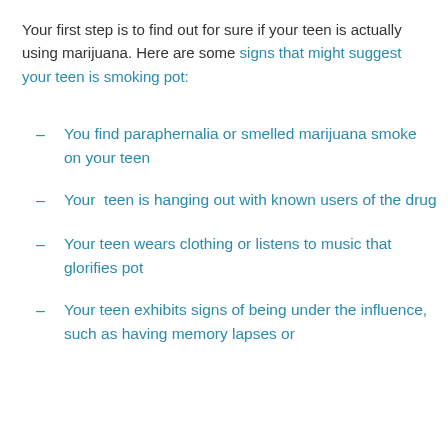Your first step is to find out for sure if your teen is actually using marijuana. Here are some signs that might suggest your teen is smoking pot:
You find paraphernalia or smelled marijuana smoke on your teen
Your teen is hanging out with known users of the drug
Your teen wears clothing or listens to music that glorifies pot
Your teen exhibits signs of being under the influence, such as having memory lapses or